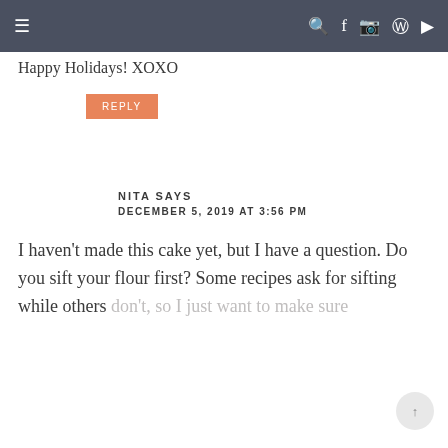Navigation bar with hamburger menu and social icons
Happy Holidays! XOXO
REPLY
NITA SAYS
DECEMBER 5, 2019 AT 3:56 PM
I haven't made this cake yet, but I have a question. Do you sift your flour first? Some recipes ask for sifting while others don't, so I just want to make sure